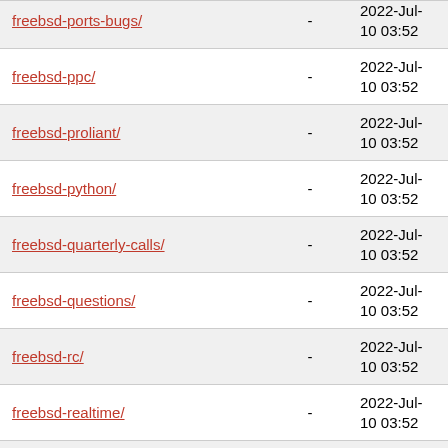| Name |  | Last modified |
| --- | --- | --- |
| freebsd-ports-bugs/ | - | 2022-Jul-10 03:52 |
| freebsd-ppc/ | - | 2022-Jul-10 03:52 |
| freebsd-proliant/ | - | 2022-Jul-10 03:52 |
| freebsd-python/ | - | 2022-Jul-10 03:52 |
| freebsd-quarterly-calls/ | - | 2022-Jul-10 03:52 |
| freebsd-questions/ | - | 2022-Jul-10 03:52 |
| freebsd-rc/ | - | 2022-Jul-10 03:52 |
| freebsd-realtime/ | - | 2022-Jul-10 03:52 |
| freebsd-riscv/ | - | 2022-Jul-10 03:52 |
| freebsd-ruby/ | - | 2022-Jul-10 03:52 |
| freebsd-scsi/ | - | 2022-Jul-10 03:52 |